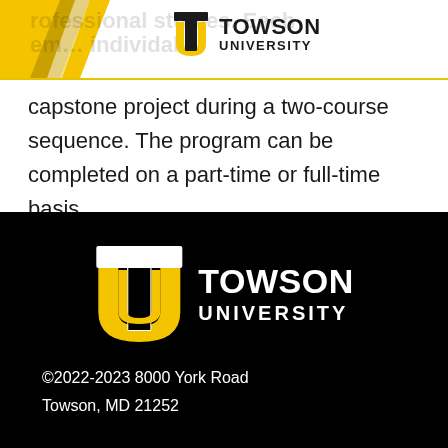[Figure (logo): Towson University TU logo in header bar with yellow chevron background, dark text on white]
capstone project during a two-course sequence. The program can be completed on a part-time or full-time basis.
[Figure (logo): Towson University TU logo large white and gold version on black background]
©2022-2023 8000 York Road Towson, MD 21252